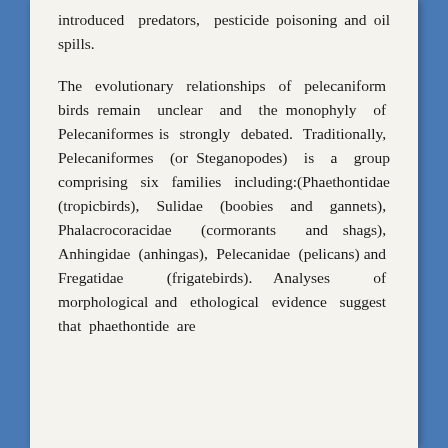introduced predators, pesticide poisoning and oil spills.
The evolutionary relationships of pelecaniform birds remain unclear and the monophyly of Pelecaniformes is strongly debated. Traditionally, Pelecaniformes (or Steganopodes) is a group comprising six families including:(Phaethontidae (tropicbirds), Sulidae (boobies and gannets), Phalacrocoracidae (cormorants and shags), Anhingidae (anhingas), Pelecanidae (pelicans) and Fregatidae (frigatebirds). Analyses of morphological and ethological evidence suggest that phaethontide are